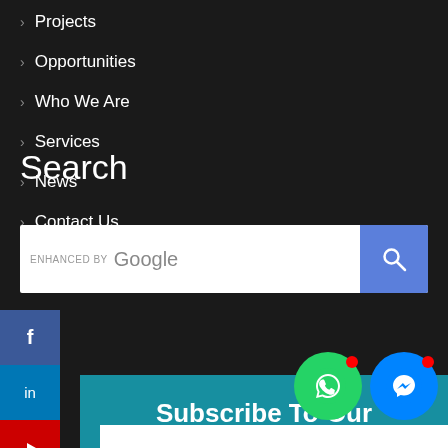> Projects
> Services
> Opportunities
> News
> Who We Are
> Contact Us
Search
[Figure (screenshot): Enhanced by Google search bar with blue search button]
[Figure (infographic): Social media sidebar icons: Facebook (blue), LinkedIn (blue), YouTube (red), Instagram (gradient)]
[Figure (infographic): Teal newsletter subscription section with text 'Subscribe To Our Newsletter', WhatsApp and Messenger chat buttons, and white input bar at bottom]